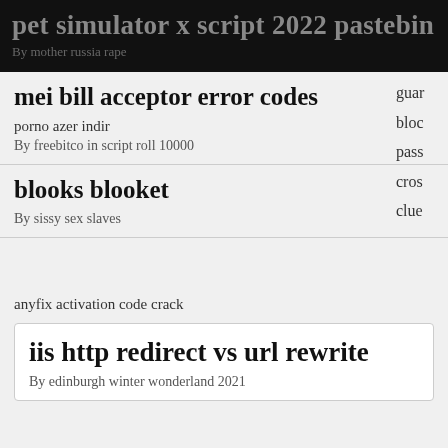pet simulator x script 2022 pastebin
By mother russia rape
guar
bloc
pass
cros
clue
mei bill acceptor error codes
porno azer indir
By freebitco in script roll 10000
blooks blooket
By sissy sex slaves
anyfix activation code crack
iis http redirect vs url rewrite
By edinburgh winter wonderland 2021